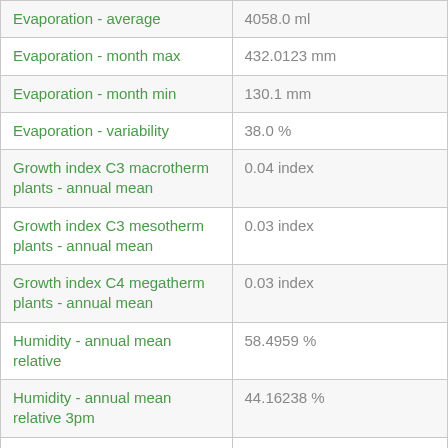| Parameter | Value |
| --- | --- |
| Evaporation - average | 4058.0 ml |
| Evaporation - month max | 432.0123 mm |
| Evaporation - month min | 130.1 mm |
| Evaporation - variability | 38.0 % |
| Growth index C3 macrotherm plants - annual mean | 0.04 index |
| Growth index C3 mesotherm plants - annual mean | 0.03 index |
| Growth index C4 megatherm plants - annual mean | 0.03 index |
| Humidity - annual mean relative | 58.4959 % |
| Humidity - annual mean relative 3pm | 44.16238 % |
| Humidity - month max relative | 76.23688 % |
| Humidity - month max relative 3pm | 55.236927 % |